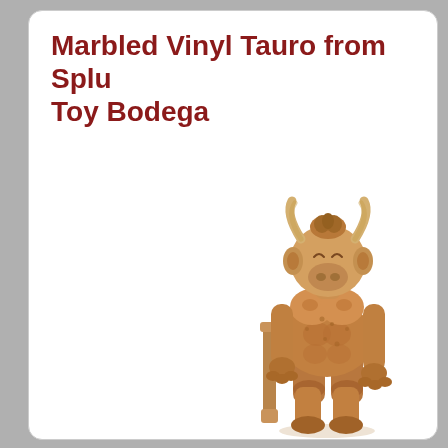Marbled Vinyl Tauro from Spl… Toy Bodega
[Figure (photo): A marbled vinyl Tauro figure (minotaur-like creature with a bull head and muscular humanoid body rendered in wood-grain brown tones), standing upright on a white background, with a small cylindrical accessory/staff to its left side.]